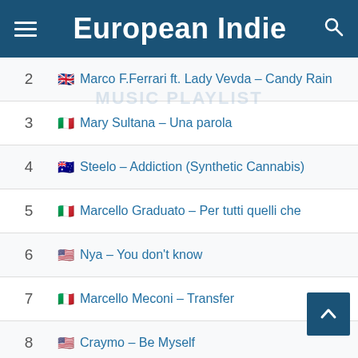European Indie
2  Marco F.Ferrari ft. Lady Vevda – Candy Rain
3  Mary Sultana – Una parola
4  Steelo – Addiction (Synthetic Cannabis)
5  Marcello Graduato – Per tutti quelli che
6  Nya – You don't know
7  Marcello Meconi – Transfer
8  Craymo – Be Myself
9  Dolinar Spahija – Broken
10  Settore Giada – Olmi
11  Dhesia – The voice of the Wind
12  Marijuanal – I Don't Care
13  Margot – Tokyo